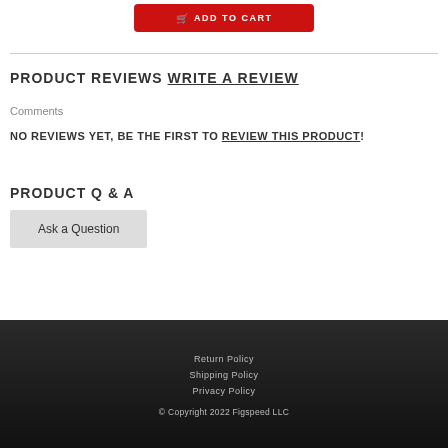[Figure (other): Red Add to Cart button with shopping cart icon]
PRODUCT REVIEWS WRITE A REVIEW
Comments
NO REVIEWS YET, BE THE FIRST TO REVIEW THIS PRODUCT!
PRODUCT Q & A
Ask a Question
Return Policy
Shipping Policy
Privacy Policy
© Copyright 2022 Figspeed LLC